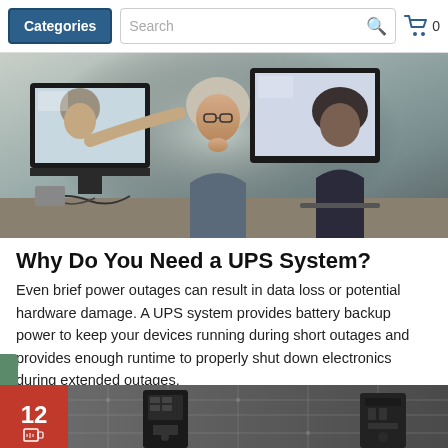Categories | Search | 0
[Figure (photo): People working at computer monitors in an office setting, viewed from the side]
Why Do You Need a UPS System?
Even brief power outages can result in data loss or potential hardware damage. A UPS system provides battery backup power to keep your devices running during short outages and provides enough runtime to properly shut down electronics during extended outages.
[Figure (photo): Bottom banner showing UPS devices on a dark circuit board background, with a red section showing '12' on the left]